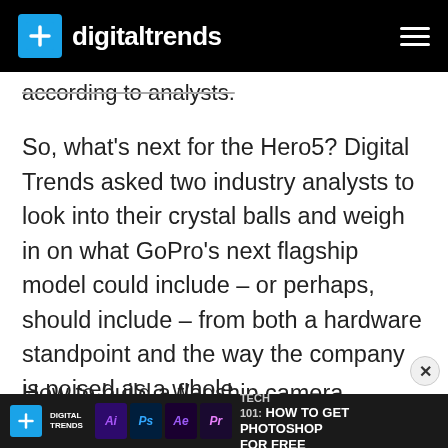digitaltrends
according to analysts.
So, what’s next for the Hero5? Digital Trends asked two industry analysts to look into their crystal balls and weigh in on what GoPro’s next flagship model could include – or perhaps, should include – from both a hardware standpoint and the way the company is poised as a whole.
How to build a flagship camera...
[Figure (screenshot): Digital Trends website advertisement banner for Tech 101: How to Get Photoshop for Free, featuring Adobe application icons (Ai, Ps, Ae, Pr).]